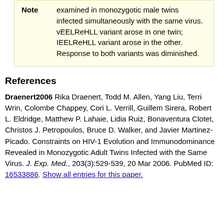|  |  |
| --- | --- |
| Note | examined in monozygotic male twins infected simultaneously with the same virus. vEELReHLL variant arose in one twin; IEELReHLL variant arose in the other. Response to both variants was diminished. |
References
Draenert2006 Rika Draenert, Todd M. Allen, Yang Liu, Terri Wrin, Colombe Chappey, Cori L. Verrill, Guillem Sirera, Robert L. Eldridge, Matthew P. Lahaie, Lidia Ruiz, Bonaventura Clotet, Christos J. Petropoulos, Bruce D. Walker, and Javier Martinez-Picado. Constraints on HIV-1 Evolution and Immunodominance Revealed in Monozygotic Adult Twins Infected with the Same Virus. J. Exp. Med., 203(3):529-539, 20 Mar 2006. PubMed ID: 16533886. Show all entries for this paper.